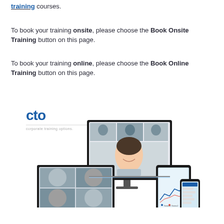training courses.
To book your training onsite, please choose the Book Onsite Training button on this page.
To book your training online, please choose the Book Online Training button on this page.
[Figure (photo): CTO (Corporate Training Options) logo with multiple devices (desktop monitor, laptop, tablet, smartphone) showing video conferencing and online training interfaces.]